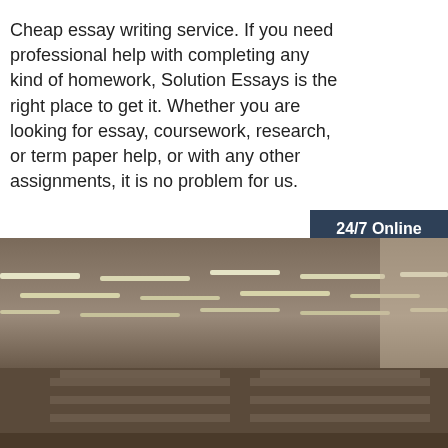Cheap essay writing service. If you need professional help with completing any kind of homework, Solution Essays is the right place to get it. Whether you are looking for essay, coursework, research, or term paper help, or with any other assignments, it is no problem for us.
[Figure (illustration): Orange 'Get Price' button]
[Figure (illustration): Sidebar ad: 24/7 Online support with photo of smiling woman with headset, 'Click here for free chat!' and orange QUOTATION button]
[Figure (photo): Interior photo of a library or store with fluorescent ceiling lights and shelving units]